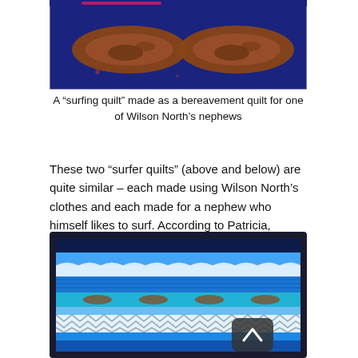[Figure (photo): A surfing quilt on dark navy blue background with two brown oval surfboard shapes, made as a bereavement quilt.]
A “surfing quilt” made as a bereavement quilt for one of Wilson North’s nephews
These two “surfer quilts” (above and below) are quite similar – each made using Wilson North’s clothes and each made for a nephew who himself likes to surf. According to Patricia, Wilson taught both nephews how to surf.
[Figure (photo): A surfing quilt with blue and light blue wave patterns, made with patterned fabric strips in various blues, with a small dark square icon with an up arrow overlaid on the lower right area.]